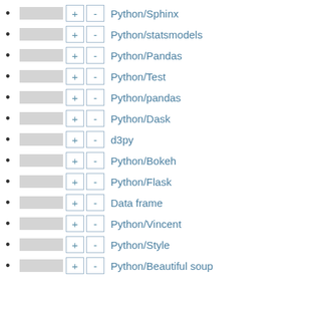Python/Sphinx
Python/statsmodels
Python/Pandas
Python/Test
Python/pandas
Python/Dask
d3py
Python/Bokeh
Python/Flask
Data frame
Python/Vincent
Python/Style
Python/Beautiful soup